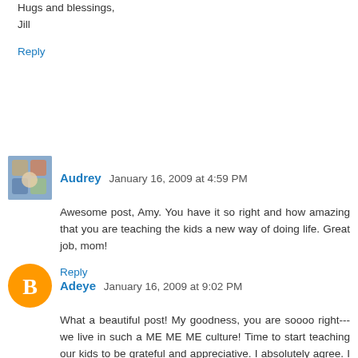Hugs and blessings,
Jill
Reply
Audrey  January 16, 2009 at 4:59 PM
Awesome post, Amy. You have it so right and how amazing that you are teaching the kids a new way of doing life. Great job, mom!
Reply
Adeye  January 16, 2009 at 9:02 PM
What a beautiful post! My goodness, you are soooo right--- we live in such a ME ME ME culture! Time to start teaching our kids to be grateful and appreciative. I absolutely agree. I always find that in teaching my kids---I learn myself.
You are doing such an amazing job with the children the Father has indeed blessed. You are so sensitive to the